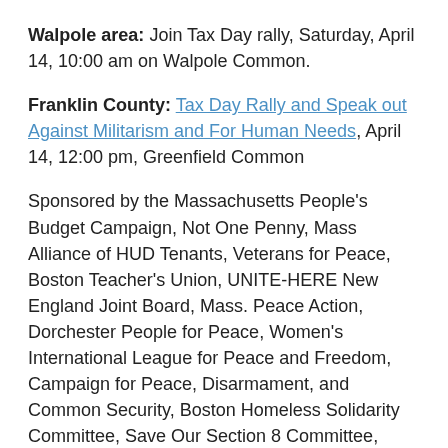Walpole area: Join Tax Day rally, Saturday, April 14, 10:00 am on Walpole Common.
Franklin County: Tax Day Rally and Speak out Against Militarism and For Human Needs, April 14, 12:00 pm, Greenfield Common
Sponsored by the Massachusetts People's Budget Campaign, Not One Penny, Mass Alliance of HUD Tenants, Veterans for Peace, Boston Teacher's Union, UNITE-HERE New England Joint Board, Mass. Peace Action, Dorchester People for Peace, Women's International League for Peace and Freedom, Campaign for Peace, Disarmament, and Common Security, Boston Homeless Solidarity Committee, Save Our Section 8 Committee, January Coalition, Cambridge Area Stronger Together, New England War Tax Resistance, Watertown